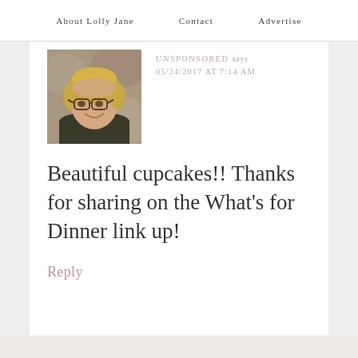About Lolly Jane   Contact   Advertise
[Figure (photo): Profile photo of a woman with glasses and short blonde hair wearing a dark top]
UNSPONSORED says
05/24/2017 AT 7:14 AM
Beautiful cupcakes!! Thanks for sharing on the What's for Dinner link up!
Reply